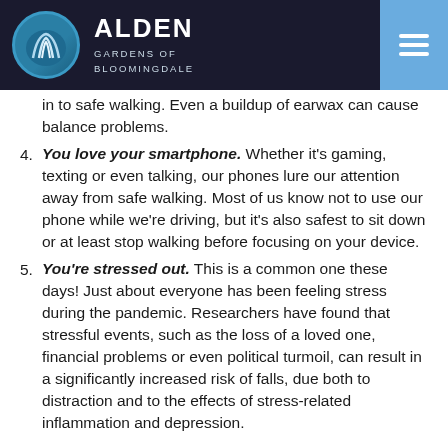ALDEN GARDENS OF BLOOMINGDALE
in to safe walking. Even a buildup of earwax can cause balance problems.
You love your smartphone. Whether it's gaming, texting or even talking, our phones lure our attention away from safe walking. Most of us know not to use our phone while we're driving, but it's also safest to sit down or at least stop walking before focusing on your device.
You're stressed out. This is a common one these days! Just about everyone has been feeling stress during the pandemic. Researchers have found that stressful events, such as the loss of a loved one, financial problems or even political turmoil, can result in a significantly increased risk of falls, due both to distraction and to the effects of stress-related inflammation and depression.